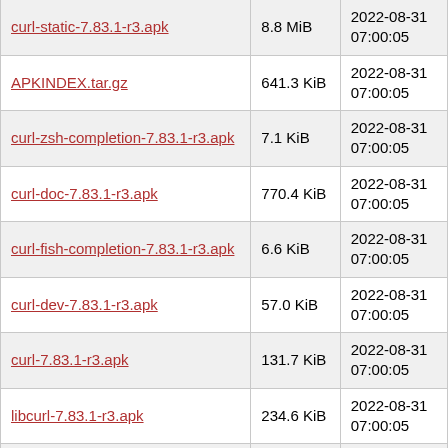| Filename | Size | Date |
| --- | --- | --- |
| curl-static-7.83.1-r3.apk | 8.8 MiB | 2022-08-31 07:00:05 |
| APKINDEX.tar.gz | 641.3 KiB | 2022-08-31 07:00:05 |
| curl-zsh-completion-7.83.1-r3.apk | 7.1 KiB | 2022-08-31 07:00:05 |
| curl-doc-7.83.1-r3.apk | 770.4 KiB | 2022-08-31 07:00:05 |
| curl-fish-completion-7.83.1-r3.apk | 6.6 KiB | 2022-08-31 07:00:05 |
| curl-dev-7.83.1-r3.apk | 57.0 KiB | 2022-08-31 07:00:05 |
| curl-7.83.1-r3.apk | 131.7 KiB | 2022-08-31 07:00:05 |
| libcurl-7.83.1-r3.apk | 234.6 KiB | 2022-08-31 07:00:05 |
| curl-dbg-7.83.1-r3.apk | 1.5 MiB | 2022-08-31 07:00:05 |
| zfs-lts-5.15.63-r0.apk | 1.7 MiB | 2022-08-29 09:37:00 |
| zfs-virt-5.15.63-r0.apk | 1.7 MiB | 2022-08-29 09:37:00 |
| zfs-lts-dev-5.15.63-r0.apk | 480.3 | 2022-08-29 |